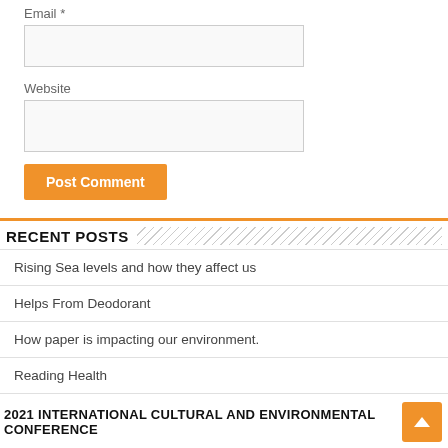Email *
Website
Post Comment
RECENT POSTS
Rising Sea levels and how they affect us
Helps From Deodorant
How paper is impacting our environment.
Reading Health
China Conducts Missile Strikes Over Taiwan Strait
2021 INTERNATIONAL CULTURAL AND ENVIRONMENTAL CONFERENCE